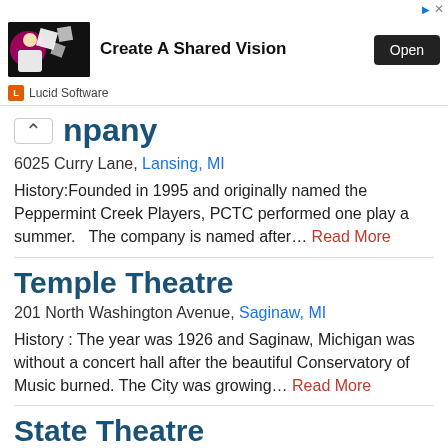[Figure (screenshot): Advertisement banner for Lucid Software with text 'Create A Shared Vision' and an Open button]
npany
6025 Curry Lane, Lansing, MI
History:Founded in 1995 and originally named the Peppermint Creek Players, PCTC performed one play a summer.   The company is named after... Read More
Temple Theatre
201 North Washington Avenue, Saginaw, MI
History : The year was 1926 and Saginaw, Michigan was without a concert hall after the beautiful Conservatory of Music burned. The City was growing... Read More
State Theatre